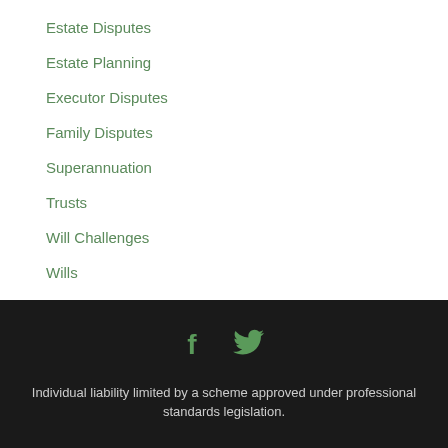Estate Disputes
Estate Planning
Executor Disputes
Family Disputes
Superannuation
Trusts
Will Challenges
Wills
[Figure (illustration): Social media icons: Facebook (f) and Twitter bird icon, both in green color on dark background]
Individual liability limited by a scheme approved under professional standards legislation.